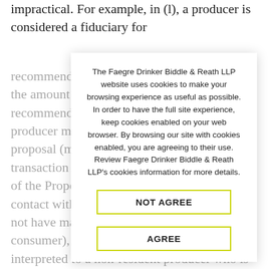impractical. For example, in (l), a producer is considered a fiduciary for
recommending a policy, but cannot indicate the amount of commission, making such a recommendation is 'financial advice' if the producer merely maintains an insurance proposal (m), all producers involved in a transaction are subject to all of the provisions of the Proposal, even if they have no direct contact with the consumer (and thus would not have made a recommendation to the consumer), and this provision could be interpreted to a non-resident producer who is not licensed in New York.
The Faegre Drinker Biddle & Reath LLP website uses cookies to make your browsing experience as useful as possible. In order to have the full site experience, keep cookies enabled on your web browser. By browsing our site with cookies enabled, you are agreeing to their use. Review Faegre Drinker Biddle & Reath LLP's cookies information for more details.
NOT AGREE
AGREE